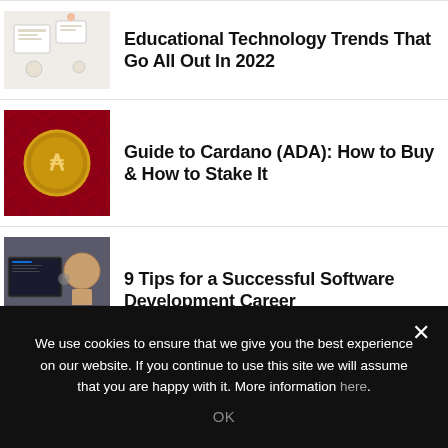Educational Technology Trends That Go All Out In 2022
Guide to Cardano (ADA): How to Buy & How to Stake It
9 Tips for a Successful Software Development Career
Tips and Tricks to gain in the Crypto journey
We use cookies to ensure that we give you the best experience on our website. If you continue to use this site we will assume that you are happy with it. More information here.
OK